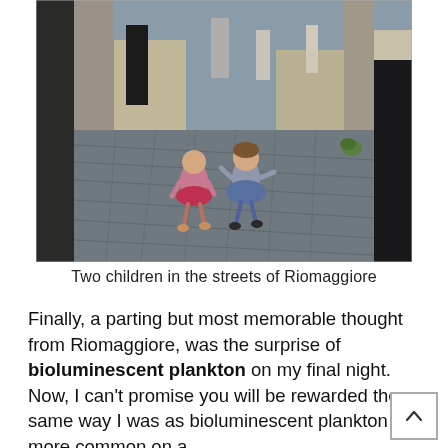[Figure (photo): Two young children walking away from the camera on a cobblestone street in Riomaggiore, Italy. Other people visible in the background. Stone buildings on either side.]
Two children in the streets of Riomaggiore
Finally, a parting but most memorable thought from Riomaggiore, was the surprise of bioluminescent plankton on my final night. Now, I can't promise you will be rewarded the same way I was as bioluminescent plankton are more common on a